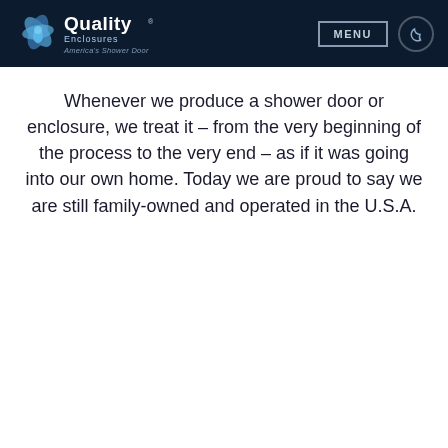Quality Enclosures — America's Shower Door | MENU
shower and tub enclosures using superior workmanship and the highest quality materials.
Whenever we produce a shower door or enclosure, we treat it – from the very beginning of the process to the very end – as if it was going into our own home. Today we are proud to say we are still family-owned and operated in the U.S.A.